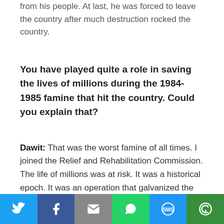from his people. At last, he was forced to leave the country after much destruction rocked the country.
You have played quite a role in saving the lives of millions during the 1984-1985 famine that hit the country. Could you explain that?
Dawit: That was the worst famine of all times. I joined the Relief and Rehabilitation Commission. The life of millions was at risk. It was a historical epoch. It was an operation that galvanized the attention of the whole world after the
[Figure (other): Social sharing bar with Twitter, Facebook, Email, WhatsApp, SMS, and More buttons]